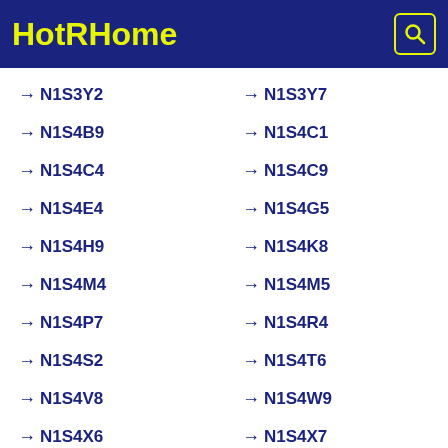HotRHome
→ N1S3Y2
→ N1S3Y7
→ N1S4B9
→ N1S4C1
→ N1S4C4
→ N1S4C9
→ N1S4E4
→ N1S4G5
→ N1S4H9
→ N1S4K8
→ N1S4M4
→ N1S4M5
→ N1S4P7
→ N1S4R4
→ N1S4S2
→ N1S4T6
→ N1S4V8
→ N1S4W9
→ N1S4X6
→ N1S4X7